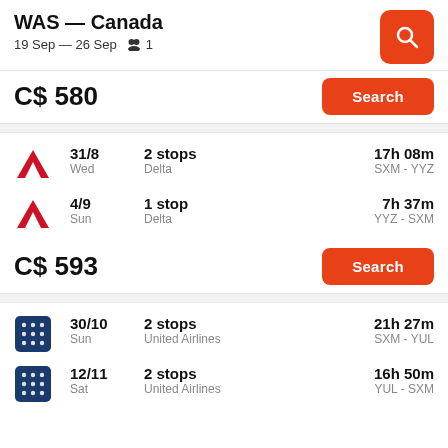WAS — Canada
19 Sep — 26 Sep  👥 1
C$ 580
Search
31/8  Wed  2 stops  Delta  17h 08m  SXM - YYZ
4/9  Sun  1 stop  Delta  7h 37m  YYZ - SXM
C$ 593
Search
30/10  Sun  2 stops  United Airlines  21h 27m  SXM - YUL
12/11  Sat  2 stops  United Airlines  16h 50m  YUL - SXM